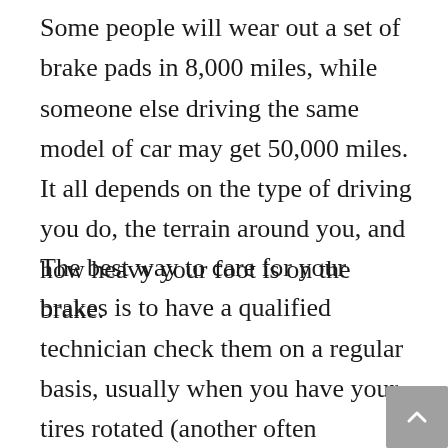Some people will wear out a set of brake pads in 8,000 miles, while someone else driving the same model of car may get 50,000 miles. It all depends on the type of driving you do, the terrain around you, and how heavy your foot is on the brake.
The best way to care for your brakes is to have a qualified technician check them on a regular basis, usually when you have your tires rotated (another often neglected issue) about every 5000 miles. If you hear squeaking or scraping noises when you brake in between checks, go by your shop as soon as you can to have them checked. If noises are the